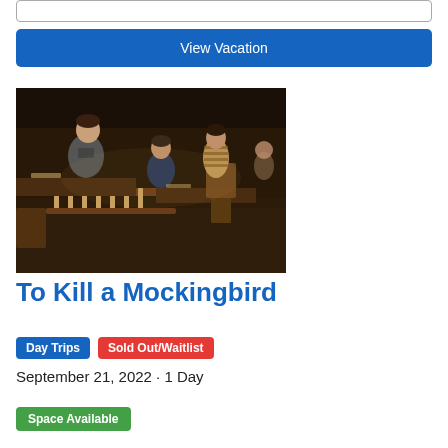[Figure (screenshot): Input text field (empty) and a blue 'View Vacation' button below it]
[Figure (photo): Theatrical stage scene from To Kill a Mockingbird: actors in a courtroom setting, dramatic lighting, dark background]
To Kill a Mockingbird
Day Trips   Sold Out/Waitlist
September 21, 2022 · 1 Day
Space Available